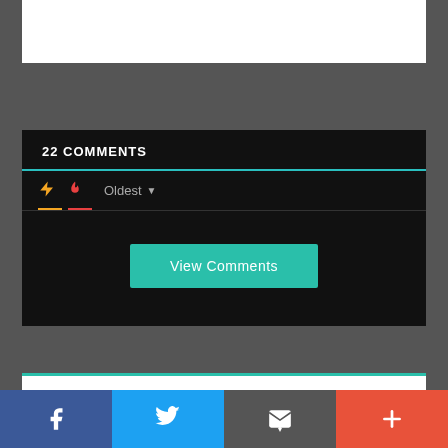[Figure (screenshot): White content panel at top]
22 COMMENTS
[Figure (screenshot): Comments section with sort toolbar showing bolt icon, fire icon, and Oldest dropdown]
[Figure (screenshot): View Comments button in teal/green color]
[Figure (screenshot): Social sharing bar at bottom with Facebook, Twitter, Email, and More buttons]